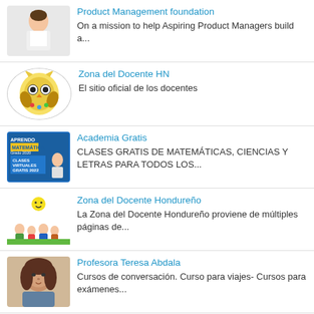Product Management foundation
On a mission to help Aspiring Product Managers build a...
Zona del Docente HN
El sitio oficial de los docentes
Academia Gratis
CLASES GRATIS DE MATEMÁTICAS, CIENCIAS Y LETRAS PARA TODOS LOS...
Zona del Docente Hondureño
La Zona del Docente Hondureño proviene de múltiples páginas de...
Profesora Teresa Abdala
Cursos de conversación. Curso para viajes- Cursos para exámenes...
Legends of the old American west
For those who enjoy learning the history of the old...